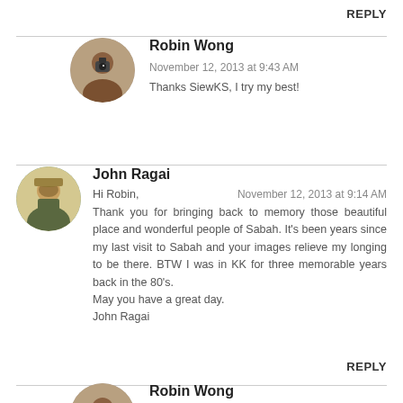REPLY
[Figure (photo): Circular avatar photo of Robin Wong, a person holding a camera, seen in a mirror selfie. Brown tones.]
Robin Wong
November 12, 2013 at 9:43 AM
Thanks SiewKS, I try my best!
[Figure (photo): Circular avatar photo of John Ragai, a young person wearing a collared shirt.]
John Ragai
Hi Robin,
November 12, 2013 at 9:14 AM
Thank you for bringing back to memory those beautiful place and wonderful people of Sabah. It's been years since my last visit to Sabah and your images relieve my longing to be there. BTW I was in KK for three memorable years back in the 80's.
May you have a great day.
John Ragai
REPLY
[Figure (photo): Circular avatar photo of Robin Wong, partially visible at bottom of page.]
Robin Wong